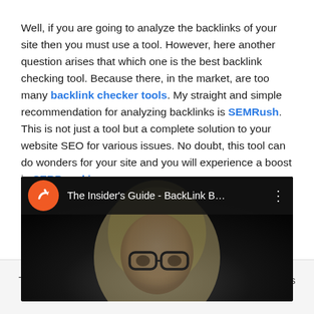Well, if you are going to analyze the backlinks of your site then you must use a tool. However, here another question arises that which one is the best backlink checking tool. Because there, in the market, are too many backlink checker tools. My straight and simple recommendation for analyzing backlinks is SEMRush. This is not just a tool but a complete solution to your website SEO for various issues. No doubt, this tool can do wonders for your site and you will experience a boost in SERP ranking.
[Figure (screenshot): A YouTube video thumbnail showing 'The Insider's Guide - BackLink B...' with a SEMRush logo (orange circle with arrow icon) and a woman with glasses and blonde hair in the background.]
This website uses cookies. You can read more | display settings | ACCEPT | reject & leave